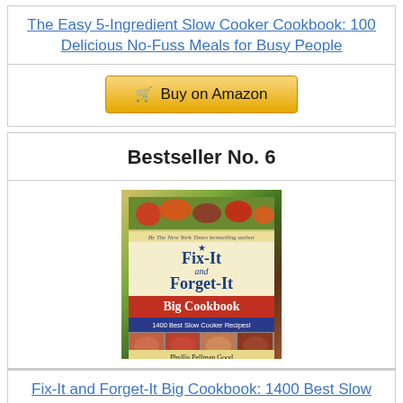The Easy 5-Ingredient Slow Cooker Cookbook: 100 Delicious No-Fuss Meals for Busy People
[Figure (other): Buy on Amazon button with shopping cart icon]
Bestseller No. 6
[Figure (photo): Book cover: Fix-It and Forget-It Big Cookbook: 1400 Best Slow Cooker Recipes! by Phyllis Pellman Good]
Fix-It and Forget-It Big Cookbook: 1400 Best Slow Cooker Recipes!